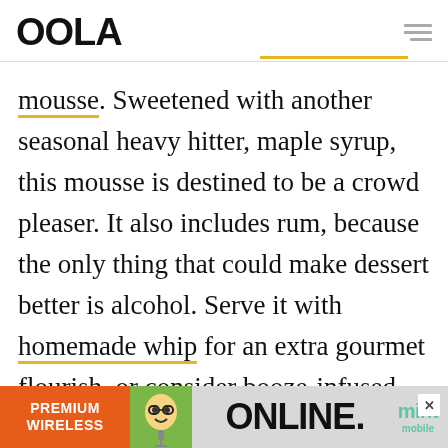OOLA
mousse. Sweetened with another seasonal heavy hitter, maple syrup, this mousse is destined to be a crowd pleaser. It also includes rum, because the only thing that could make dessert better is alcohol. Serve it with homemade whip for an extra gourmet flourish, or consider booze-infused whipped cream as an alternative. Be sure to add a dusting of cinnamon or nutmeg for a touch of
[Figure (other): Mint Mobile advertisement banner with orange block saying PREMIUM WIRELESS, cartoon character, ONLINE. text, and mint mobile logo]